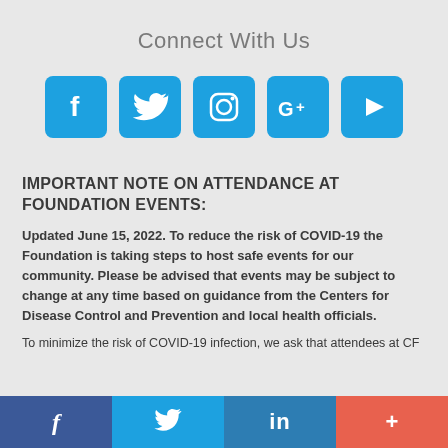Connect With Us
[Figure (infographic): Five social media icon buttons in blue rounded squares: Facebook (f), Twitter (bird), Instagram (camera), Google+ (G+), YouTube (play triangle)]
IMPORTANT NOTE ON ATTENDANCE AT FOUNDATION EVENTS:
Updated June 15, 2022. To reduce the risk of COVID-19 the Foundation is taking steps to host safe events for our community. Please be advised that events may be subject to change at any time based on guidance from the Centers for Disease Control and Prevention and local health officials.
To minimize the risk of COVID-19 infection, we ask that attendees at CF
f (Facebook)   Twitter bird   in (LinkedIn)   + (Add)